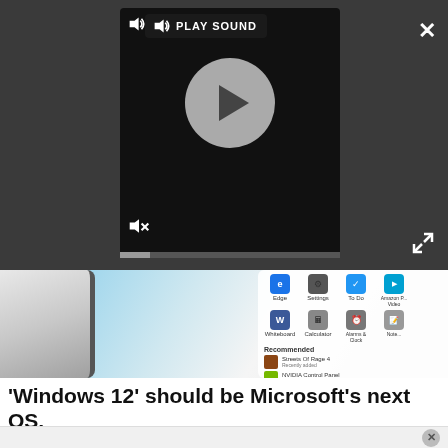[Figure (screenshot): Video player overlay on dark background with play button circle, PLAY SOUND label, mute icons, close X button, expand button, and progress bar]
[Figure (screenshot): Windows 11 Start Menu screenshot showing app icons (Edge, Settings, Whiteboard, To Do, Amazon Prime Video, OneNote, Calculator, Alarms and Clock, Notepad) and Recommended section with Streets Of Rage 4 and NVIDIA Control Panel recently added]
'Windows 12' should be Microsoft's next OS, say Windows Central readers